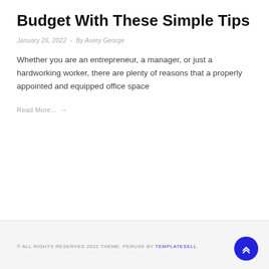Budget With These Simple Tips
January 26, 2022  -  By Avery George
Whether you are an entrepreneur, a manager, or just a hardworking worker, there are plenty of reasons that a properly appointed and equipped office space
Read More... →
© ALL RIGHTS RESERVED 2022 THEME: PERUSE BY TEMPLATESELL.